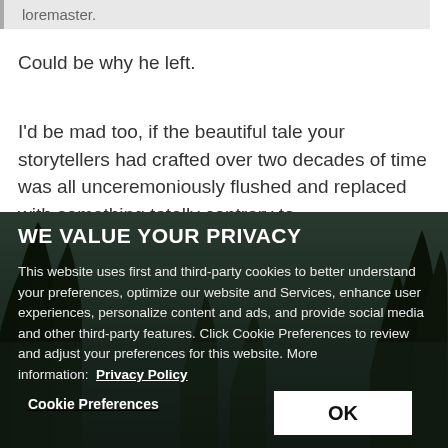loremaster.
Could be why he left.
I'd be mad too, if the beautiful tale your storytellers had crafted over two decades of time was all unceremoniously flushed and replaced with something totally contrary to
WE VALUE YOUR PRIVACY
This website uses first and third-party cookies to better understand your preferences, optimize our website and Services, enhance user experiences, personalize content and ads, and provide social media and other third-party features. Click Cookie Preferences to review and adjust your preferences for this website. More information:  Privacy Policy
Cookie Preferences
OK